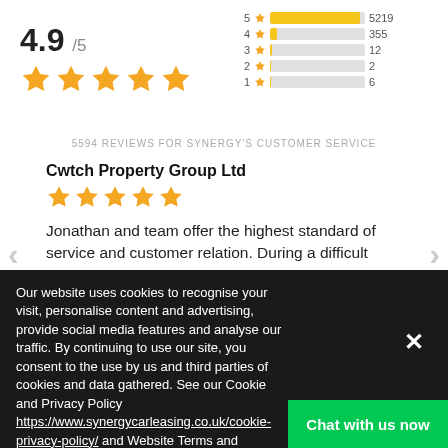[Figure (bar-chart): Rating distribution]
4.9 /5
5594 REVIEWS FOR SYNERGY'S CUSTOMER SERVICE
Cwtch Property Group Ltd
Jonathan and team offer the highest standard of service and customer relation. During a difficult time, globally, at every step of the process I was...
Posted 22 hours ago
Our website uses cookies to recognise your visit, personalise content and advertising, provide social media features and analyse our traffic. By continuing to use our site, you consent to the use by us and third parties of cookies and data gathered. See our Cookie and Privacy Policy https://www.synergycarleasing.co.uk/cookie-privacy-policy/ and Website Terms and Conditions https://www.synergycarleasing.co.uk/web-terms-conditions.
Chat with us now